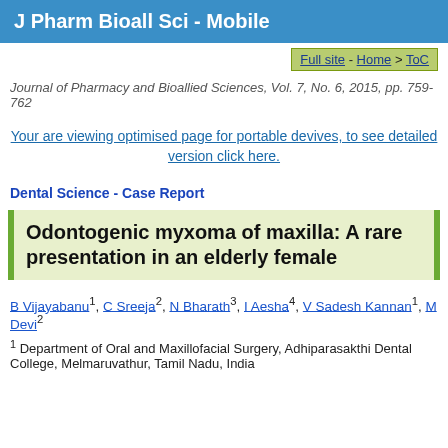J Pharm Bioall Sci - Mobile
Full site - Home > ToC
Journal of Pharmacy and Bioallied Sciences, Vol. 7, No. 6, 2015, pp. 759-762
Your are viewing optimised page for portable devives, to see detailed version click here.
Dental Science - Case Report
Odontogenic myxoma of maxilla: A rare presentation in an elderly female
B Vijayabanu1, C Sreeja2, N Bharath3, I Aesha4, V Sadesh Kannan1, M Devi2
1 Department of Oral and Maxillofacial Surgery, Adhiparasakthi Dental College, Melmaruvathur, Tamil Nadu, India